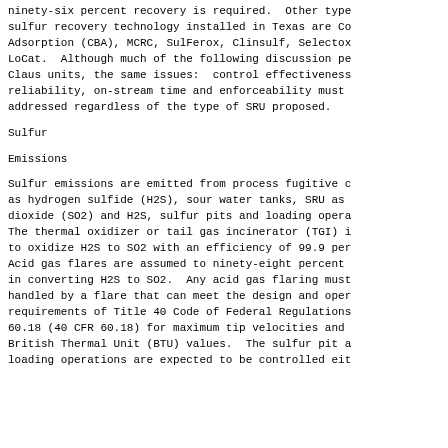ninety-six percent recovery is required.  Other type sulfur recovery technology installed in Texas are Co Adsorption (CBA), MCRC, SulFerox, Clinsulf, Selectox LoCat.  Although much of the following discussion pe Claus units, the same issues:  control effectiveness reliability, on-stream time and enforceability must addressed regardless of the type of SRU proposed.
Sulfur
Emissions
Sulfur emissions are emitted from process fugitive c as hydrogen sulfide (H2S), sour water tanks, SRU as dioxide (SO2) and H2S, sulfur pits and loading opera The thermal oxidizer or tail gas incinerator (TGI) i to oxidize H2S to SO2 with an efficiency of 99.9 per Acid gas flares are assumed to ninety-eight percent in converting H2S to SO2.  Any acid gas flaring must handled by a flare that can meet the design and oper requirements of Title 40 Code of Federal Regulations 60.18 (40 CFR 60.18) for maximum tip velocities and British Thermal Unit (BTU) values.  The sulfur pit a loading operations are expected to be controlled eit